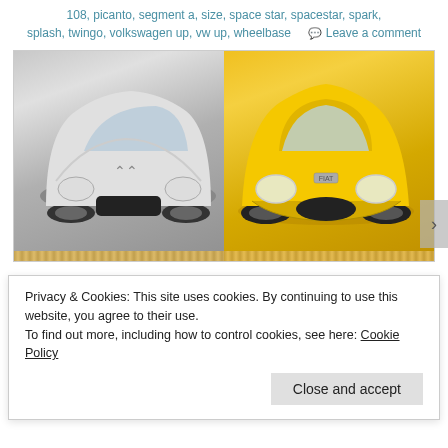108, picanto, segment a, size, space star, spacestar, spark, splash, twingo, volkswagen up, vw up, wheelbase  Leave a comment
[Figure (photo): Two small city cars photographed side by side with a ruler overlay: white Citroen C1 on the left and yellow Fiat 500 on the right, shown from a front three-quarter angle on a grey background.]
I promise, you will be pleasantly surprised how much space there is in a mini car. An overall length of 3.5
Privacy & Cookies: This site uses cookies. By continuing to use this website, you agree to their use.
To find out more, including how to control cookies, see here: Cookie Policy
Close and accept